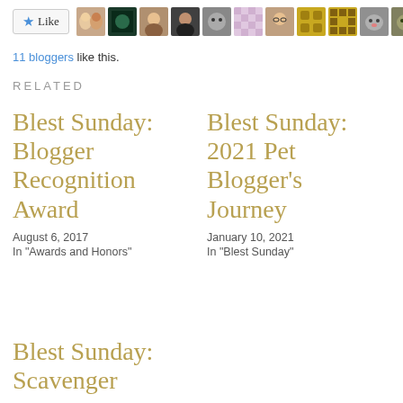[Figure (other): Like button with star icon and a row of 10 blogger avatar thumbnails]
11 bloggers like this.
RELATED
Blest Sunday: Blogger Recognition Award
August 6, 2017
In "Awards and Honors"
Blest Sunday: 2021 Pet Blogger's Journey
January 10, 2021
In "Blest Sunday"
Blest Sunday: Scavenger